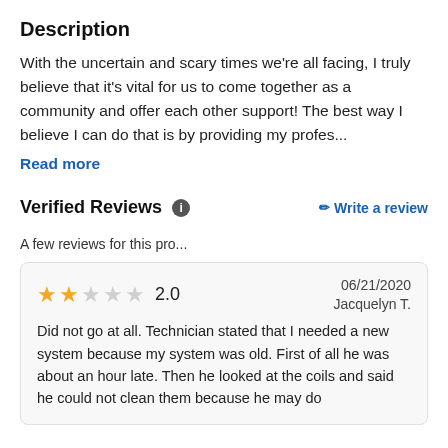Description
With the uncertain and scary times we're all facing, I truly believe that it's vital for us to come together as a community and offer each other support! The best way I believe I can do that is by providing my profes...
Read more
Verified Reviews
Write a review
A few reviews for this pro...
2.0  06/21/2020  Jacquelyn T.  Did not go at all. Technician stated that I needed a new system because my system was old. First of all he was about an hour late. Then he looked at the coils and said he could not clean them because he may do